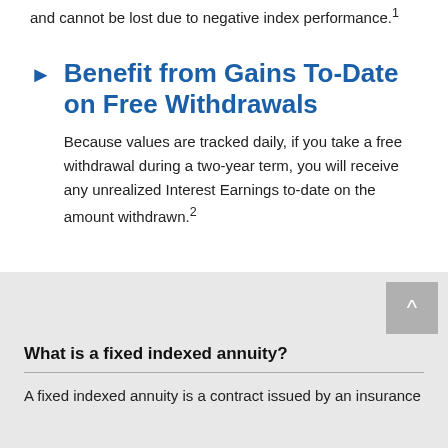and cannot be lost due to negative index performance.¹
Benefit from Gains To-Date on Free Withdrawals
Because values are tracked daily, if you take a free withdrawal during a two-year term, you will receive any unrealized Interest Earnings to-date on the amount withdrawn.²
What is a fixed indexed annuity?
A fixed indexed annuity is a contract issued by an insurance